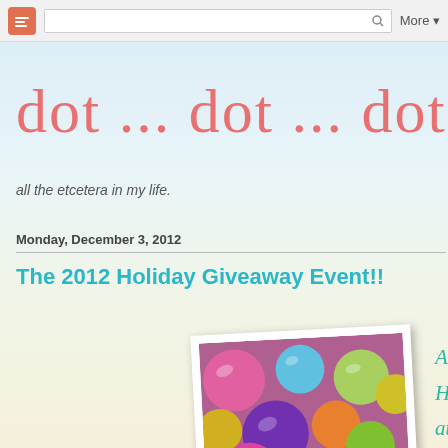Blogger navigation bar with search and More menu
dot ... dot ... dot .
all the etcetera in my life.
Monday, December 3, 2012
The 2012 Holiday Giveaway Event!!
[Figure (photo): Polaroid-style photo of colorful Christmas ornaments (pink, teal, gold, purple, green, orange) with cursive text overlay reading 'Annu... Holiday... at... dot...dot' in teal]